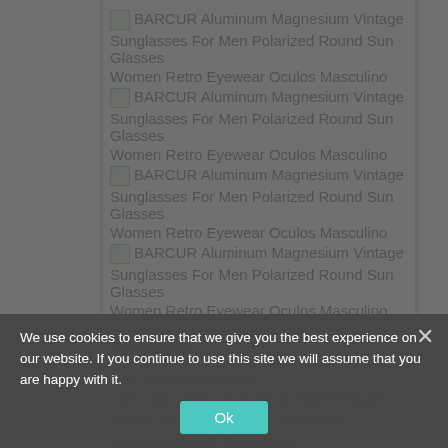BARCUR Aluminum Magnesium Vintage Sunglasses For Men Polarized Round Sun Glasses Women Retro Eyewear Oculos Masculino
BARCUR Aluminum Magnesium Vintage Sunglasses For Men Polarized Round Sun Glasses Women Retro Eyewear Oculos Masculino
BARCUR Aluminum Magnesium Vintage Sunglasses For Men Polarized Round Sun Glasses Women Retro Eyewear Oculos Masculino
BARCUR Aluminum Magnesium Vintage Sunglasses For Men Polarized Round Sun Glasses Women Retro Eyewear Oculos Masculino
Payment:
* We recive Alipay here
* All major credit cards are accepted thought secure payment processor EXCROW
Warranty & Returns:
We use cookies to ensure that we give you the best experience on our website. If you continue to use this site we will assume that you are happy with it.